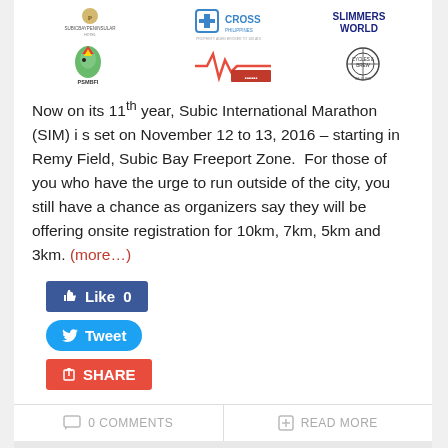[Figure (logo): Row of sponsor logos: SubicBayPeninsularHotel, Cross Philippines, Slimmers World, PSMBFI (parrot logo), a waveform/heartbeat logo, Cycles and Brew]
Now on its 11th year, Subic International Marathon (SIM) i s set on November 12 to 13, 2016 – starting in Remy Field, Subic Bay Freeport Zone.  For those of you who have the urge to run outside of the city, you still have a chance as organizers say they will be offering onsite registration for 10km, 7km, 5km and 3km. (more…)
[Figure (other): Social sharing buttons: Like 0 (Facebook blue), Tweet (Twitter blue), SHARE (Google+ red)]
0 COMMENTS
READ MORE
Smart Sports on Subic International Marathon